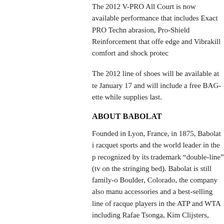The 2012 V-PRO All Court is now available performance that includes Exact PRO Technology abrasion, Pro-Shield Reinforcement that offers edge and Vibrakill comfort and shock protection.
The 2012 line of shoes will be available at tennis shops January 17 and will include a free BAG-ette while supplies last.
ABOUT BABOLAT
Founded in Lyon, France, in 1875, Babolat is a leader in racquet sports and the world leader in the production of strings, recognized by its trademark "double-line" (two parallel crosses on the stringing bed). Babolat is still family-owned. Based in Boulder, Colorado, the company also manufactures accessories and a best-selling line of racquets, used by top players in the ATP and WTA including Rafael Nadal, Jo-Wilfried Tsonga, Kim Clijsters, Francesca Schiavone and more. To find where Babolat products are sold, log on to babolat.com. Follow us on Facebook or Twitter.
Posted on January 5, 2012